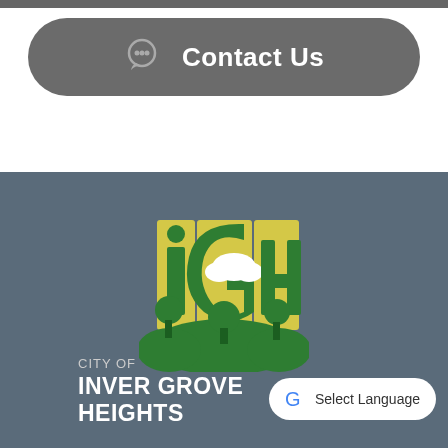[Figure (other): Gray pill-shaped Contact Us button with chat bubble icon and white text]
[Figure (logo): City of Inver Grove Heights logo - stylized IGH letters in yellow/green with trees and hills]
CITY OF
INVER GROVE HEIGHTS
Select Language